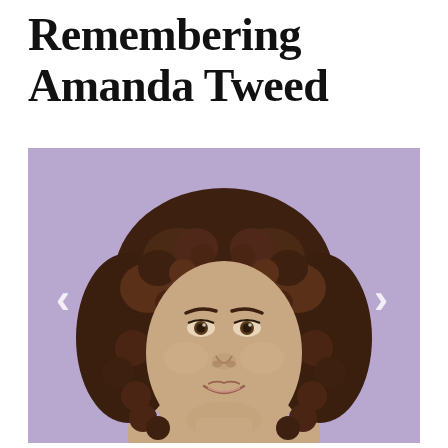Remembering Amanda Tweed
[Figure (photo): Portrait photo of Amanda Tweed, a young woman with curly dark brown shoulder-length hair, light brown complexion, slight smile, against a purple background. Navigation arrows (< and >) are visible on the left and right sides of the photo frame.]